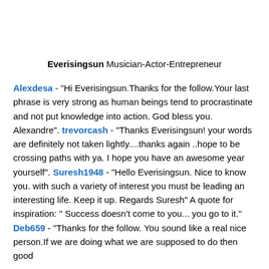Everisingsun Musician-Actor-Entrepreneur
Alexdesa - "Hi Everisingsun.Thanks for the follow.Your last phrase is very strong as human beings tend to procrastinate and not put knowledge into action. God bless you. Alexandre". trevorcash - "Thanks Everisingsun! your words are definitely not taken lightly....thanks again ..hope to be crossing paths with ya. I hope you have an awesome year yourself". Suresh1948 - "Hello Everisingsun. Nice to know you. with such a variety of interest you must be leading an interesting life. Keep it up. Regards Suresh" A quote for inspiration: " Success doesn't come to you... you go to it." Deb659 - "Thanks for the follow. You sound like a real nice person.If we are doing what we are supposed to do then good